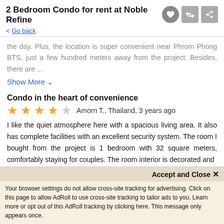2 Bedroom Condo for rent at Noble Refine
< Go back
the day. Plus, the location is super convenient near Phrom Phong BTS, just a few hundred meters away from the project. Besides, there are ...
Show More
Condo in the heart of convenience
Amorn T., Thailand, 3 years ago
I like the quiet atmosphere here with a spacious living area. It also has complete facilities with an excellent security system. The room I bought from the project is 1 bedroom with 32 square meters, comfortably staying for couples. The room interior is decorated and sat...
Show More
Accept and Close ✕
Your browser settings do not allow cross-site tracking for advertising. Click on this page to allow AdRoll to use cross-site tracking to tailor ads to you. Learn more or opt out of this AdRoll tracking by clicking here. This message only appears once.